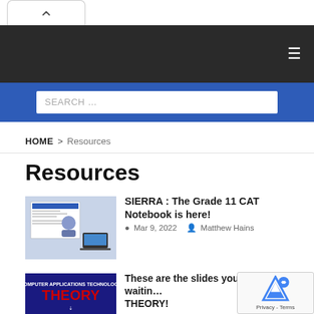Navigation bar with hamburger menu
SEARCH ...
HOME > Resources
Resources
[Figure (screenshot): Thumbnail screenshot of a computer applications interface with laptop image]
SIERRA : The Grade 11 CAT Notebook is here!
Mar 9, 2022  Matthew Hains
[Figure (screenshot): Book cover with text COMPUTER APPLICATIONS TECHNOLOGY THEORY in red and white on dark blue background]
These are the slides you've been waiting for… THEORY!